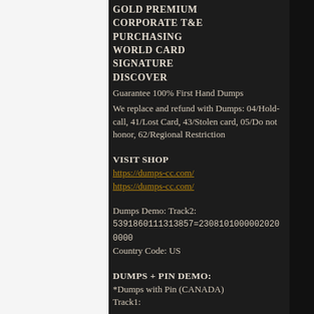GOLD PREMIUM
CORPORATE T&E
PURCHASING
WORLD CARD
SIGNATURE
DISCOVER
Guarantee 100% First Hand Dumps
We replace and refund with Dumps: 04/Hold-call, 41/Lost Card, 43/Stolen card, 05/Do not honor, 62/Regional Restriction
VISIT SHOP
https://dumps-cc.com/
https://dumps-cc.com/
Dumps Demo: Track2:
5391860111313857=23081010000020200000
Country Code: US
DUMPS + PIN DEMO:
*Dumps with Pin (CANADA)
Track1: